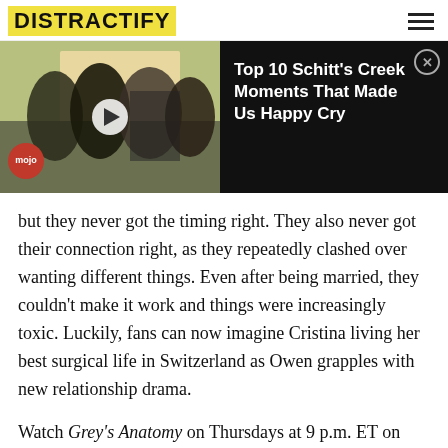DISTRACTIFY
[Figure (screenshot): Video thumbnail showing people hugging outdoors, with WatchMojo logo, and play button. Black panel on right shows title: Top 10 Schitt's Creek Moments That Made Us Happy Cry, with a close button.]
but they never got the timing right. They also never got their connection right, as they repeatedly clashed over wanting different things. Even after being married, they couldn't make it work and things were increasingly toxic. Luckily, fans can now imagine Cristina living her best surgical life in Switzerland as Owen grapples with new relationship drama.
Watch Grey's Anatomy on Thursdays at 9 p.m. ET on ABC.
Advertisement